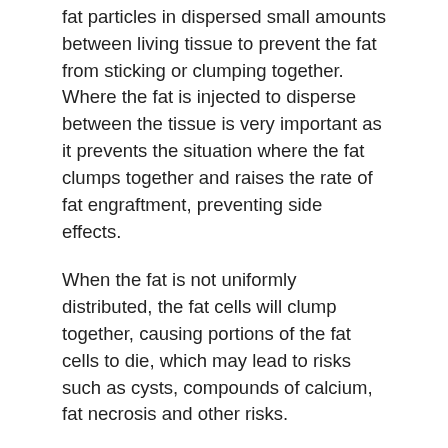fat particles in dispersed small amounts between living tissue to prevent the fat from sticking or clumping together. Where the fat is injected to disperse between the tissue is very important as it prevents the situation where the fat clumps together and raises the rate of fat engraftment, preventing side effects.
When the fat is not uniformly distributed, the fat cells will clump together, causing portions of the fat cells to die, which may lead to risks such as cysts, compounds of calcium, fat necrosis and other risks.
If a large amount of fat particles are injected or if the particles do not disperse and if the fat starts to clump together, the portions of the fat cells will die. Because side effects such as cysts (fat pockets), compounds of calcium, fat necrosis and other risks will arise, if the portions of fat die, the know-how when injecting fat will influence the results.